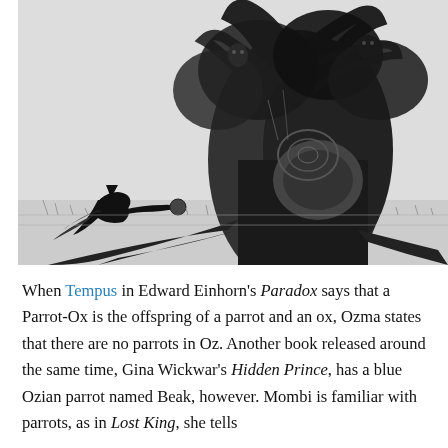[Figure (illustration): Black and white pencil illustration of a large gnarled tree with twisted roots and branches. A small figure (possibly a witch or traveler) with a flowing cape or cloak is in the lower left, appearing to approach or interact with the tree. The style is detailed, dark, and somewhat ominous.]
When Tempus in Edward Einhorn's Paradox says that a Parrot-Ox is the offspring of a parrot and an ox, Ozma states that there are no parrots in Oz. Another book released around the same time, Gina Wickwar's Hidden Prince, has a blue Ozian parrot named Beak, however. Mombi is familiar with parrots, as in Lost King, she tells